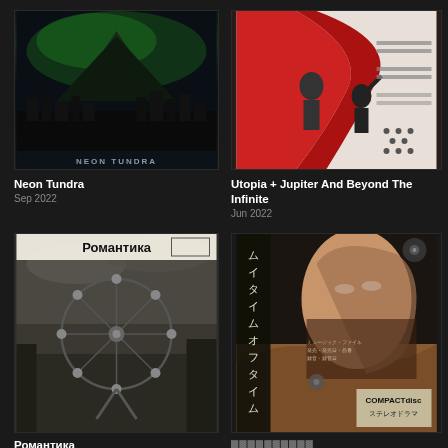[Figure (illustration): Album cover for Neon Tundra - dark cyberpunk cityscape with aurora borealis green sky and a mountain silhouette]
Neon Tundra
Sep 2022
[Figure (illustration): Album cover for Utopia + Jupiter And Beyond The Infinite - constructivist style with red figures and Soviet propaganda poster aesthetic]
Utopia + Jupiter And Beyond The Infinite
Jun 2022
[Figure (illustration): Album cover for Романтика - abandoned Chernobyl ferris wheel with Cyrillic title text at top in retro style]
Романтика
[Figure (illustration): Album cover with Japanese vertical text on left, COMPACTdisc label bottom right, close up face and desert dune imagery]